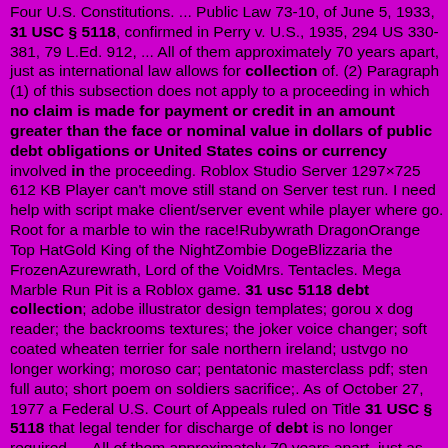Four U.S. Constitutions. ... Public Law 73-10, of June 5, 1933, 31 USC § 5118, confirmed in Perry v. U.S., 1935, 294 US 330-381, 79 L.Ed. 912, ... All of them approximately 70 years apart, just as international law allows for collection of. (2) Paragraph (1) of this subsection does not apply to a proceeding in which no claim is made for payment or credit in an amount greater than the face or nominal value in dollars of public debt obligations or United States coins or currency involved in the proceeding. Roblox Studio Server 1297×725 612 KB Player can't move still stand on Server test run. I need help with script make client/server event while player where go. Root for a marble to win the race!Rubywrath DragonOrange Top HatGold King of the NightZombie DogeBlizzaria the FrozenAzurewrath, Lord of the VoidMrs. Tentacles. Mega Marble Run Pit is a Roblox game. 31 usc 5118 debt collection; adobe illustrator design templates; gorou x dog reader; the backrooms textures; the joker voice changer; soft coated wheaten terrier for sale northern ireland; ustvgo no longer working; moroso car; pentatonic masterclass pdf; sten full auto; short poem on soldiers sacrifice;. As of October 27, 1977 a Federal U.S. Court of Appeals ruled on Title 31 USC § 5118 that legal tender for discharge of debt is no longer required. ... All of them approximately 70 years apart, just as international law allows for collection of government debt.